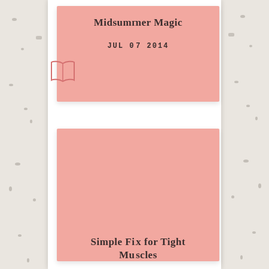Midsummer Magic
JUL 07 2014
[Figure (illustration): Open book icon outline in pink/salmon color]
[Figure (illustration): Large pink/salmon rectangle card placeholder]
Simple Fix for Tight Muscles